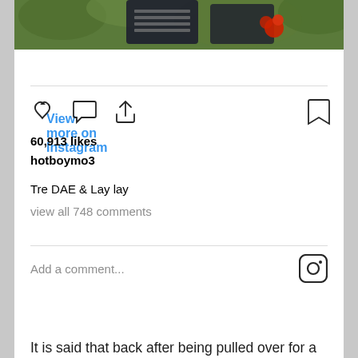[Figure (photo): Partial view of a gravestone with red flower and green foliage background]
View more on Instagram
[Figure (infographic): Instagram action icons: heart, comment, share, and bookmark]
60,913 likes
hotboymo3
Tre DAE & Lay lay
view all 748 comments
Add a comment...
It is said that back after being pulled over for a traffic violation in August of 2020, White fled the scene on a dirt bike, and later on foot. Once caught, Lancaster police found a 9 mm pistol in the young man's pocket. He is